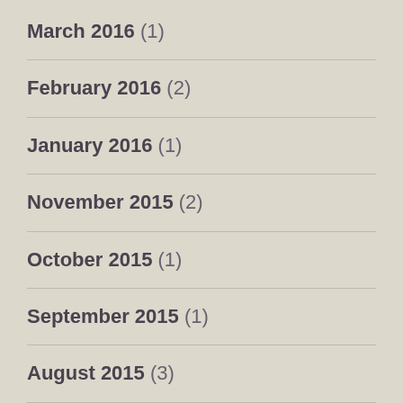March 2016 (1)
February 2016 (2)
January 2016 (1)
November 2015 (2)
October 2015 (1)
September 2015 (1)
August 2015 (3)
July 2015 (4)
June 2015 (7)